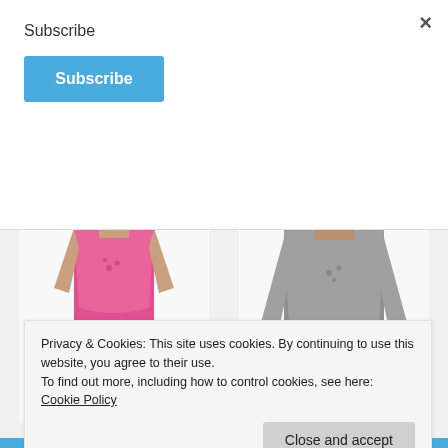Subscribe
Subscribe (button)
[Figure (photo): Two women modeling shirts: one in a pink tank top, one in a grey long-sleeve top]
Get the Husband’s shirts and products here
Privacy & Cookies: This site uses cookies. By continuing to use this website, you agree to their use.
To find out more, including how to control cookies, see here: Cookie Policy
Close and accept (button)